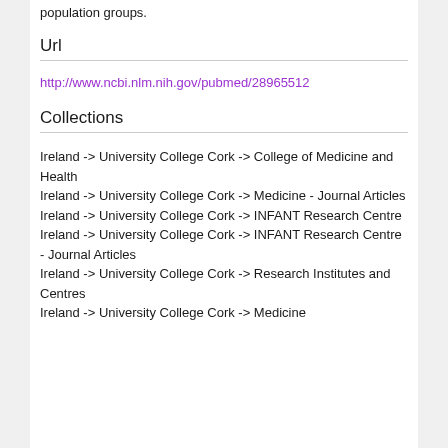population groups.
Url
http://www.ncbi.nlm.nih.gov/pubmed/28965512
Collections
Ireland -> University College Cork -> College of Medicine and Health
Ireland -> University College Cork -> Medicine - Journal Articles
Ireland -> University College Cork -> INFANT Research Centre
Ireland -> University College Cork -> INFANT Research Centre - Journal Articles
Ireland -> University College Cork -> Research Institutes and Centres
Ireland -> University College Cork -> Medicine